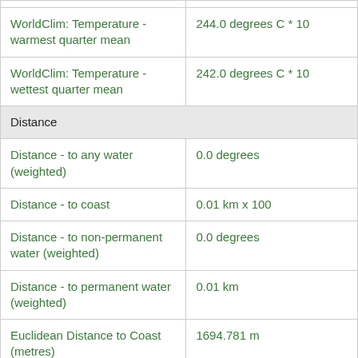| WorldClim: Temperature - warmest quarter mean | 244.0 degrees C * 10 |
| WorldClim: Temperature - wettest quarter mean | 242.0 degrees C * 10 |
| Distance |  |
| Distance - to any water (weighted) | 0.0 degrees |
| Distance - to coast | 0.01 km x 100 |
| Distance - to non-permanent water (weighted) | 0.0 degrees |
| Distance - to permanent water (weighted) | 0.01 km |
| Euclidean Distance to Coast (metres) | 1694.781 m |
| Remoteness index | 0.42291585 |
| Hydrology |  |